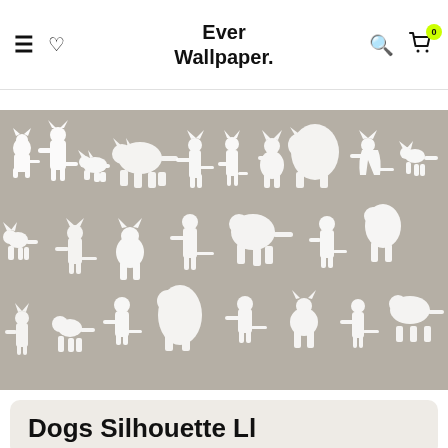Ever Wallpaper.
[Figure (photo): Wallpaper pattern with white dog and cat silhouettes on a beige/taupe background. The pattern repeats across the full width of the image showing many different breeds of dogs and cats in various poses.]
Dogs Silhouette Ll